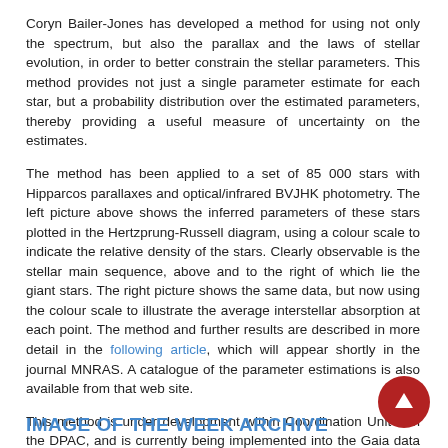Coryn Bailer-Jones has developed a method for using not only the spectrum, but also the parallax and the laws of stellar evolution, in order to better constrain the stellar parameters. This method provides not just a single parameter estimate for each star, but a probability distribution over the estimated parameters, thereby providing a useful measure of uncertainty on the estimates.
The method has been applied to a set of 85 000 stars with Hipparcos parallaxes and optical/infrared BVJHK photometry. The left picture above shows the inferred parameters of these stars plotted in the Hertzprung-Russell diagram, using a colour scale to indicate the relative density of the stars. Clearly observable is the stellar main sequence, above and to the right of which lie the giant stars. The right picture shows the same data, but now using the colour scale to illustrate the average interstellar absorption at each point. The method and further results are described in more detail in the following article, which will appear shortly in the journal MNRAS. A catalogue of the parameter estimations is also available from that web site.
This method is under development within Coordination Unit 8 in the DPAC, and is currently being implemented into the Gaia data processing pipeline. It is also being extended further, e.g. to include metallicity and an adaptable mode of the Galactic extinction.
A larger version of both figures is available: left figure; right figure
[Published: 28/09/2010]
IMAGE OF THE WEEK ARCHIVE